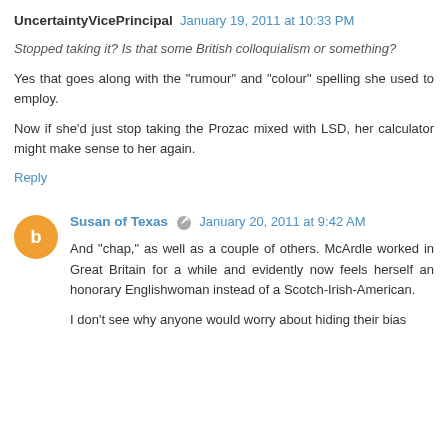UncertaintyVicePrincipal  January 19, 2011 at 10:33 PM
Stopped taking it? Is that some British colloquialism or something?
Yes that goes along with the "rumour" and "colour" spelling she used to employ.
Now if she'd just stop taking the Prozac mixed with LSD, her calculator might make sense to her again.
Reply
Susan of Texas  January 20, 2011 at 9:42 AM
And "chap," as well as a couple of others. McArdle worked in Great Britain for a while and evidently now feels herself an honorary Englishwoman instead of a Scotch-Irish-American.
I don't see why anyone would worry about hiding their bias